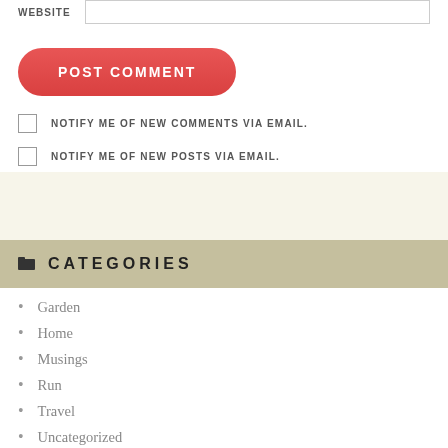WEBSITE
POST COMMENT
NOTIFY ME OF NEW COMMENTS VIA EMAIL.
NOTIFY ME OF NEW POSTS VIA EMAIL.
CATEGORIES
Garden
Home
Musings
Run
Travel
Uncategorized